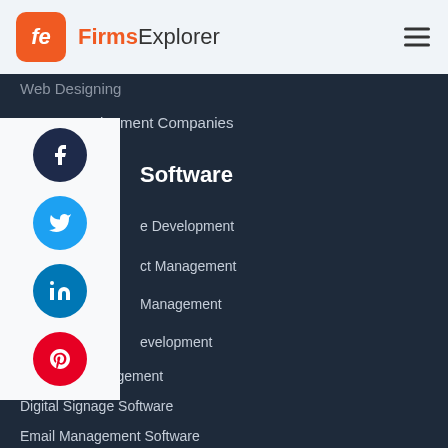FirmsExplorer
Web Designing
Game Development Companies
Software
e Development
ct Management
Management
evelopment
Inventory Management
Digital Signage Software
Email Management Software